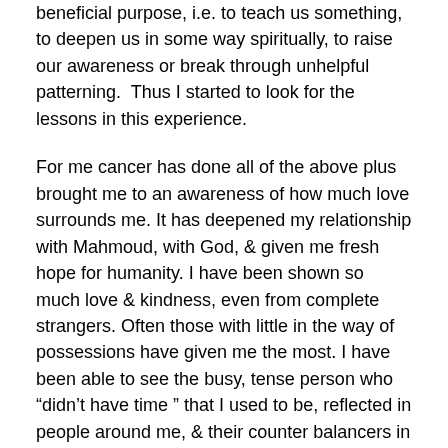beneficial purpose, i.e. to teach us something, to deepen us in some way spiritually, to raise our awareness or break through unhelpful patterning.  Thus I started to look for the lessons in this experience.
For me cancer has done all of the above plus brought me to an awareness of how much love surrounds me. It has deepened my relationship with Mahmoud, with God, & given me fresh hope for humanity. I have been shown so much love & kindness, even from complete strangers. Often those with little in the way of possessions have given me the most. I have been able to see the busy, tense person who “didn’t have time ” that I used to be, reflected in people around me, & their counter balancers in the people who will let me que jump, or help me out in getting something in a supermarket, etc., because they see I’m disabled.